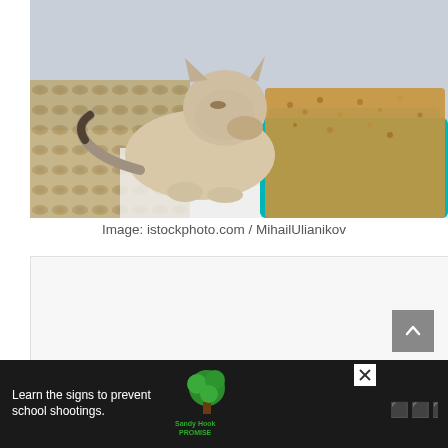[Figure (photo): A cream/beige cat sniffing or using a teal/turquoise litter box filled with wood pellet litter, on a white surface with a patterned rug visible in the background.]
Image: istockphoto.com / MihailUlianikov
[Figure (other): White/light grey rectangular placeholder box (advertisement or content area)]
[Figure (other): Dark grey scroll-to-top button with an upward chevron arrow]
[Figure (other): Black advertisement banner at the bottom: 'Learn the signs to prevent school shootings.' with Sandy Hook Promise logo and Mather brand mark]